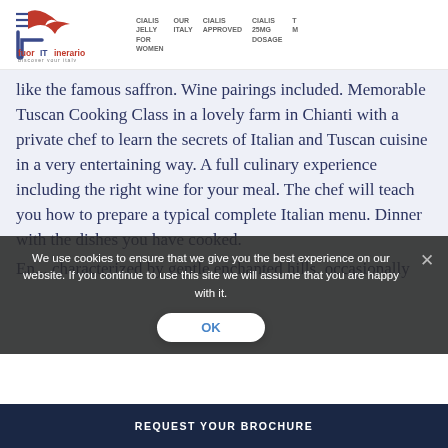[Figure (logo): FuoriItinerario logo with bird/swallow graphic in red and dark navy, tagline 'discover your italy']
CIALIS JELLY FOR WOMEN  OUR ITALY  CIALIS APPROVED  CIALIS 25MG DOSAGE  T M
like the famous saffron. Wine pairings included. Memorable Tuscan Cooking Class in a lovely farm in Chianti with a private chef to learn the secrets of Italian and Tuscan cuisine in a very entertaining way. A full culinary experience including the right wine for your meal. The chef will teach you how to prepare a typical complete Italian menu. Dinner with the dishes you have cooked.
En... characterized by gentle enchanted hills, occasionally
We use cookies to ensure that we give you the best experience on our website. If you continue to use this site we will assume that you are happy with it.
OK
REQUEST YOUR BROCHURE